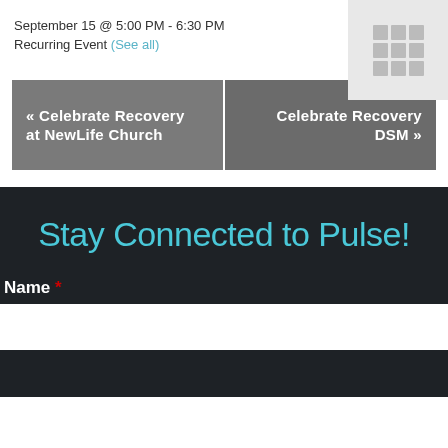September 15 @ 5:00 PM - 6:30 PM
Recurring Event (See all)
[Figure (other): Calendar grid icon on light gray background]
« Celebrate Recovery at NewLife Church
Celebrate Recovery DSM »
Stay Connected to Pulse!
Name *